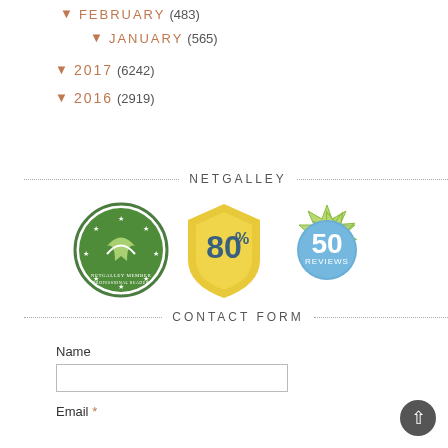▾ FEBRUARY (483)
▾ JANUARY (565)
▾ 2017 (6242)
▾ 2016 (2919)
NETGALLEY
[Figure (logo): Three NetGalley badges: NetGalley Member Professional Reader badge (green circle), 80% feedback badge (gold shield), and 50 Reviews badge (blue circle with green decorative border)]
CONTACT FORM
Name
Email *